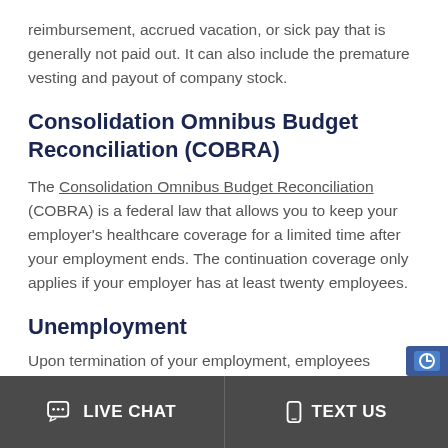reimbursement, accrued vacation, or sick pay that is generally not paid out. It can also include the premature vesting and payout of company stock.
Consolidation Omnibus Budget Reconciliation (COBRA)
The Consolidation Omnibus Budget Reconciliation (COBRA) is a federal law that allows you to keep your employer's healthcare coverage for a limited time after your employment ends. The continuation coverage only applies if your employer has at least twenty employees.
Unemployment
Upon termination of your employment, employees
LIVE CHAT   TEXT US